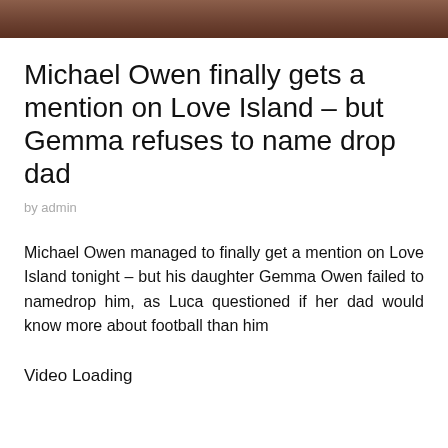[Figure (photo): Partial photo of a person, cropped to show only the top portion, appearing at the top of the page as a strip]
Michael Owen finally gets a mention on Love Island – but Gemma refuses to name drop dad
by admin
Michael Owen managed to finally get a mention on Love Island tonight – but his daughter Gemma Owen failed to namedrop him, as Luca questioned if her dad would know more about football than him
Video Loading